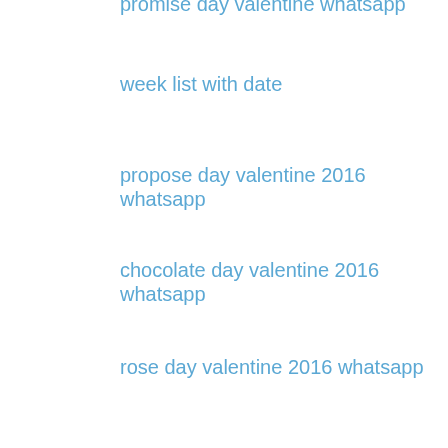promise day valentine whatsapp
week list with date
propose day valentine 2016 whatsapp
chocolate day valentine 2016 whatsapp
rose day valentine 2016 whatsapp
pretty unique hint propose day
best gift a kiss to her
know hints ways choose gifts him her
valentine dress hint outfit woman wear
valentine day love birds wallpaper 2016
2016 image red date valentines day
first date-on valentines female